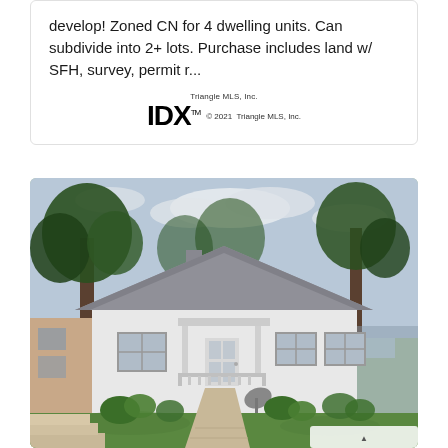develop! Zoned CN for 4 dwelling units. Can subdivide into 2+ lots. Purchase includes land w/ SFH, survey, permit r...
[Figure (logo): IDX logo with 'Triangle MLS, Inc.' label and '© 2021 Triangle MLS, Inc.' copyright text]
[Figure (photo): Exterior photo of a small white single-family home with a peaked roof, front porch with railings, two windows, a satellite dish in the front yard, green lawn, trees in background, concrete steps in foreground.]